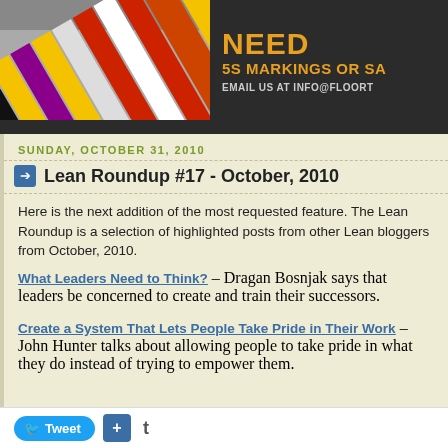[Figure (photo): Website banner showing colorful floor marking tape stripes (black, yellow, red, white, orange) on a gray floor surface, with dark background and orange/gold text reading NEED 5S MARKINGS OR SA... EMAIL US AT INFO@FLOORT...]
SUNDAY, OCTOBER 31, 2010
Lean Roundup #17 - October, 2010
Here is the next addition of the most requested feature. The Lean Roundup is a selection of highlighted posts from other Lean bloggers from October, 2010.
What Leaders Need to Think? – Dragan Bosnjak says that leaders be concerned to create and train their successors.
Create a System That Lets People Take Pride in Their Work – John Hunter talks about allowing people to take pride in what they do instead of trying to empower them.